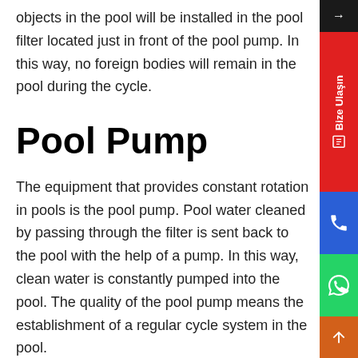objects in the pool will be installed in the pool filter located just in front of the pool pump. In this way, no foreign bodies will remain in the pool during the cycle.
Pool Pump
The equipment that provides constant rotation in pools is the pool pump. Pool water cleaned by passing through the filter is sent back to the pool with the help of a pump. In this way, clean water is constantly pumped into the pool. The quality of the pool pump means the establishment of a regular cycle system in the pool.